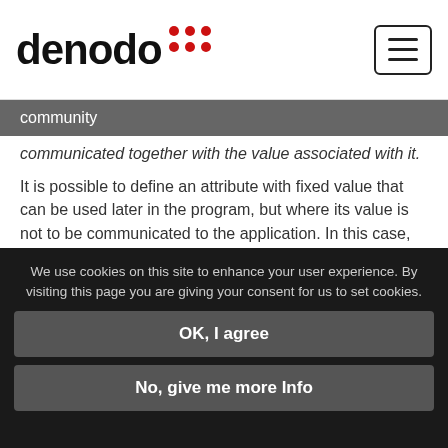denodo community
communicated together with the value associated with it.
It is possible to define an attribute with fixed value that can be used later in the program, but where its value is not to be communicated to the application. In this case, the format is
::NAME[CONTEXT]="VALUE"
It is possible to assign several values (multivalued value) to an attribute with fixed value:
We use cookies on this site to enhance your user experience. By visiting this page you are giving your consent for us to set cookies.
OK, I agree
No, give me more Info